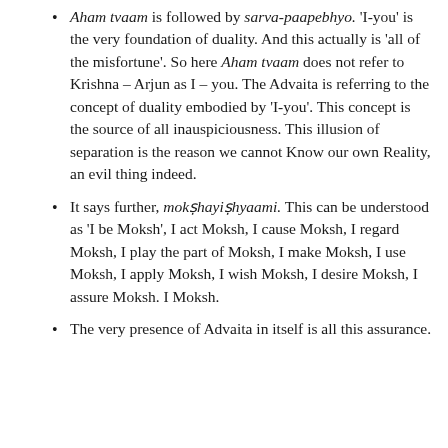Aham tvaam is followed by sarva-paapebhyo. 'I-you' is the very foundation of duality. And this actually is 'all of the misfortune'. So here Aham tvaam does not refer to Krishna – Arjun as I – you. The Advaita is referring to the concept of duality embodied by 'I-you'. This concept is the source of all inauspiciousness. This illusion of separation is the reason we cannot Know our own Reality, an evil thing indeed.
It says further, mokshayishyaami. This can be understood as 'I be Moksh', I act Moksh, I cause Moksh, I regard Moksh, I play the part of Moksh, I make Moksh, I use Moksh, I apply Moksh, I wish Moksh, I desire Moksh, I assure Moksh. I Moksh.
The very presence of Advaita in itself is all this assurance.